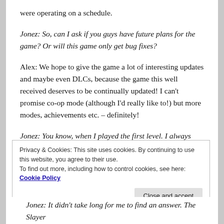were operating on a schedule.
Jonez: So, can I ask if you guys have future plans for the game? Or will this game only get bug fixes?
Alex: We hope to give the game a lot of interesting updates and maybe even DLCs, because the game this well received deserves to be continually updated! I can't promise co-op mode (although I'd really like to!) but more modes, achievements etc. – definitely!
Jonez: You know, when I played the first level. I always wondered... Can you defeat those enemy soldiers?
Privacy & Cookies: This site uses cookies. By continuing to use this website, you agree to their use.
To find out more, including how to control cookies, see here: Cookie Policy
Jonez: It didn't take long for me to find an answer. The Slayer